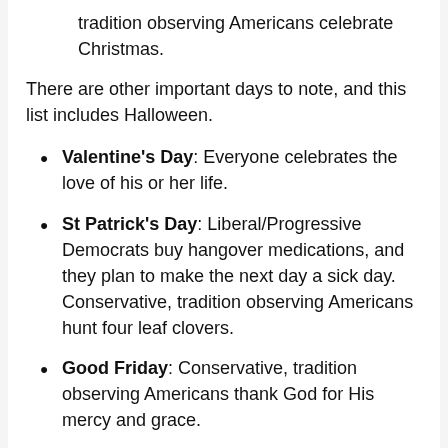tradition observing Americans celebrate Christmas.
There are other important days to note, and this list includes Halloween.
Valentine's Day: Everyone celebrates the love of his or her life.
St Patrick's Day: Liberal/Progressive Democrats buy hangover medications, and they plan to make the next day a sick day. Conservative, tradition observing Americans hunt four leaf clovers.
Good Friday: Conservative, tradition observing Americans thank God for His mercy and grace.
Easter: Liberal/Progressive Democrats condemn Conservative, tradition observing